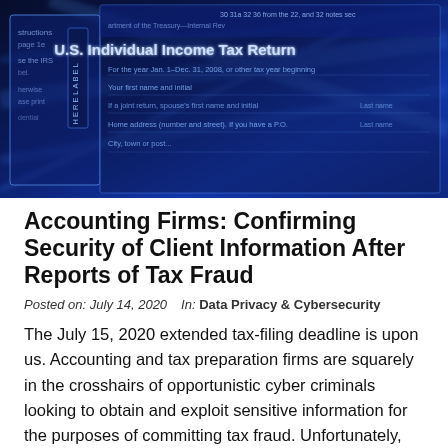[Figure (photo): Close-up photo of IRS U.S. Individual Income Tax Return form rendered in glowing blue digital style, with form fields and text visible including 'U.S. Individual Income Tax Return', 'LABEL HERE', 'For the year Jan. 1–Dec. 31, 2008', 'Your first name and initial', 'Home address (number and street)', 'City, town or post...' against a dark blue illuminated background.]
Accounting Firms: Confirming Security of Client Information After Reports of Tax Fraud
Posted on: July 14, 2020    In: Data Privacy & Cybersecurity
The July 15, 2020 extended tax-filing deadline is upon us. Accounting and tax preparation firms are squarely in the crosshairs of opportunistic cyber criminals looking to obtain and exploit sensitive information for the purposes of committing tax fraud. Unfortunately, thousands of Americans will see fraudulent tax returns filed in their